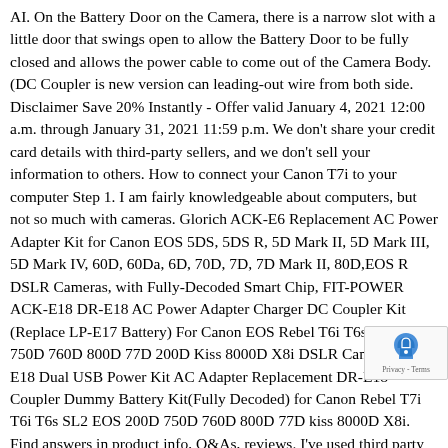AI. On the Battery Door on the Camera, there is a narrow slot with a little door that swings open to allow the Battery Door to be fully closed and allows the power cable to come out of the Camera Body. (DC Coupler is new version can leading-out wire from both side. Disclaimer Save 20% Instantly - Offer valid January 4, 2021 12:00 a.m. through January 31, 2021 11:59 p.m. We don't share your credit card details with third-party sellers, and we don't sell your information to others. How to connect your Canon T7i to your computer Step 1. I am fairly knowledgeable about computers, but not so much with cameras. Glorich ACK-E6 Replacement AC Power Adapter Kit for Canon EOS 5DS, 5DS R, 5D Mark II, 5D Mark III, 5D Mark IV, 60D, 60Da, 6D, 70D, 7D, 7D Mark II, 80D,EOS R DSLR Cameras, with Fully-Decoded Smart Chip, FIT-POWER ACK-E18 DR-E18 AC Power Adapter Charger DC Coupler Kit (Replace LP-E17 Battery) For Canon EOS Rebel T6i T6s T7i SL2 750D 760D 800D 77D 200D Kiss 8000D X8i DSLR Camera, ACK-E18 Dual USB Power Kit AC Adapter Replacement DR-E18 Coupler Dummy Battery Kit(Fully Decoded) for Canon Rebel T7i T6i T6s SL2 EOS 200D 750D 760D 800D 77D kiss 8000D X8i. Find answers in product info, Q&As, reviews. I've used third party USB powered dummy batteries on 500D/70D/80D with no issues. Canon EOS 77D / 200D / 750D / 760D / 8 8000D. This power adapter save my life, save my time. In our system considers things like how recent a review is an reviewer bought the item on Amazon. ET. You can reach us at 1
[Figure (other): reCAPTCHA badge with lock icon and 'Privacy - Terms' text in bottom right corner]